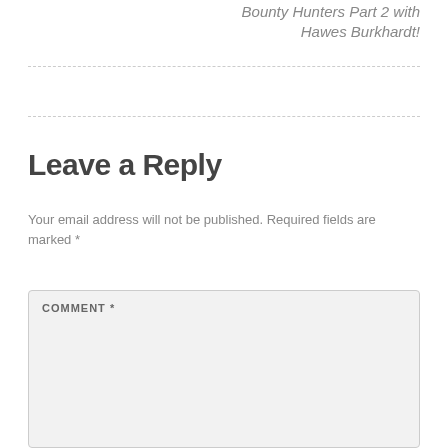Bounty Hunters Part 2 with Hawes Burkhardt!
Leave a Reply
Your email address will not be published. Required fields are marked *
COMMENT *